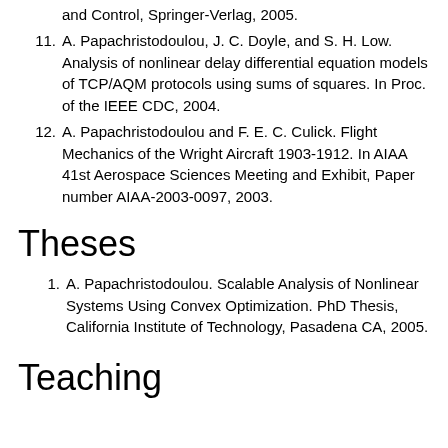and Control, Springer-Verlag, 2005.
11. A. Papachristodoulou, J. C. Doyle, and S. H. Low. Analysis of nonlinear delay differential equation models of TCP/AQM protocols using sums of squares. In Proc. of the IEEE CDC, 2004.
12. A. Papachristodoulou and F. E. C. Culick. Flight Mechanics of the Wright Aircraft 1903-1912. In AIAA 41st Aerospace Sciences Meeting and Exhibit, Paper number AIAA-2003-0097, 2003.
Theses
1. A. Papachristodoulou. Scalable Analysis of Nonlinear Systems Using Convex Optimization. PhD Thesis, California Institute of Technology, Pasadena CA, 2005.
Teaching